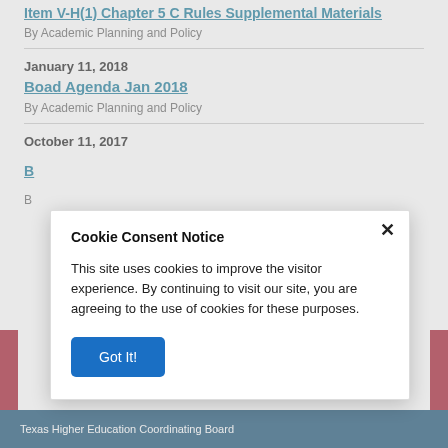Item V-H(1) Chapter 5 C Rules Supplemental Materials
By Academic Planning and Policy
January 11, 2018
Boad Agenda Jan 2018
By Academic Planning and Policy
October 11, 2017
B…
B…
[Figure (screenshot): Cookie Consent Notice modal dialog box with title 'Cookie Consent Notice', body text 'This site uses cookies to improve the visitor experience. By continuing to visit our site, you are agreeing to the use of cookies for these purposes.', a close X button, and a blue 'Got It!' button.]
Texas Higher Education Coordinating Board